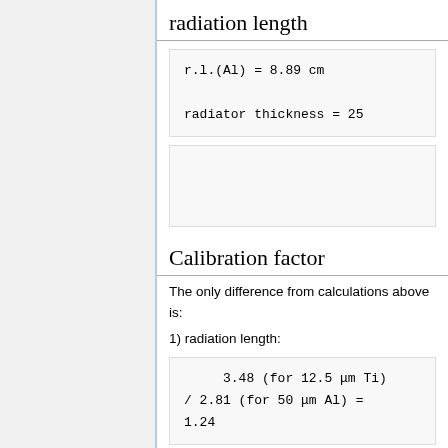radiation length
[Figure (other): Empty code/formula box]
Calibration factor
The only difference from calculations above is:
1) radiation length: